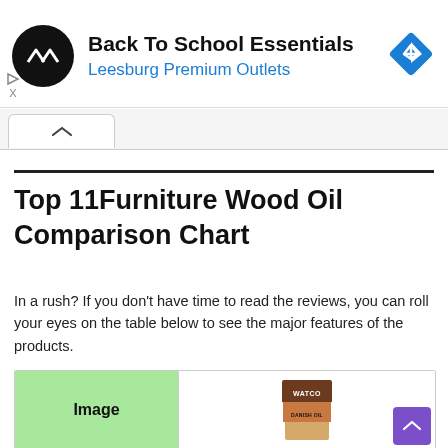[Figure (logo): Ad banner: circular black logo with double arrow icon, text 'Back To School Essentials' and 'Leesburg Premium Outlets' in blue, blue diamond navigation icon on right]
Top 11Furniture Wood Oil Comparison Chart
In a rush? If you don't have time to read the reviews, you can roll your eyes on the table below to see the major features of the products.
[Figure (table-as-image): Partial comparison table showing 'Image' label on green cell and Watco Danish Oil product can]